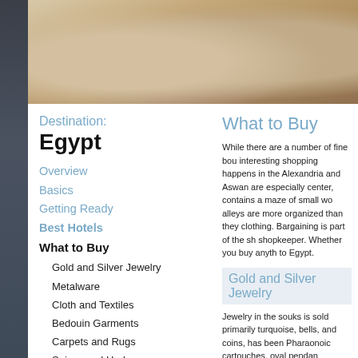[Figure (photo): Stone columns or statues from ancient Egyptian temple, carved stone figures in warm sandy tones]
Destination:
Egypt
Overview
Basics
Getting Ready
Best Hotels
What to Buy
Gold and Silver Jewelry
Metalware
Cloth and Textiles
Bedouin Garments
Carpets and Rugs
Spices and Herbs
Egypt Itinerary
Egypt & Jordan Itinerary
MLS Signature Trip:
What to Buy
While there are a number of fine bou interesting shopping happens in the Alexandria and Aswan are especially center, contains a maze of small wo alleys are more organized than they clothing. Bargaining is part of the sh shopkeeper. Whether you buy anyth to Egypt.
Gold and Silver Jewelry
Jewelry in the souks is sold primarily turquoise, bells, and coins, has been Pharaonoic cartouches, oval pendan
Metalware
The workshops of Khan al-Khalili off water pipes and coffeepots, many in